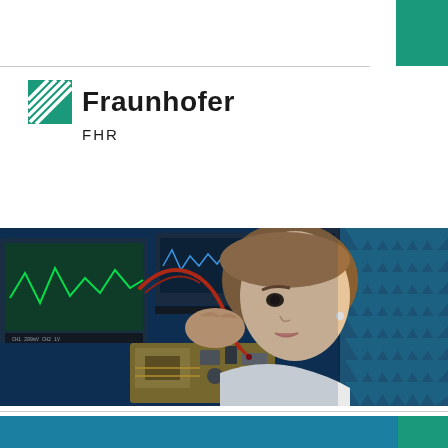[Figure (logo): Fraunhofer FHR logo with green striped square icon and bold Fraunhofer text with FHR subtitle]
[Figure (photo): A researcher in a white lab coat uses red-tipped probes to test an electronic circuit board. In the background are oscilloscopes and measurement equipment with glowing screens. The right side shows a blue anechoic chamber with pyramid-shaped foam absorbers.]